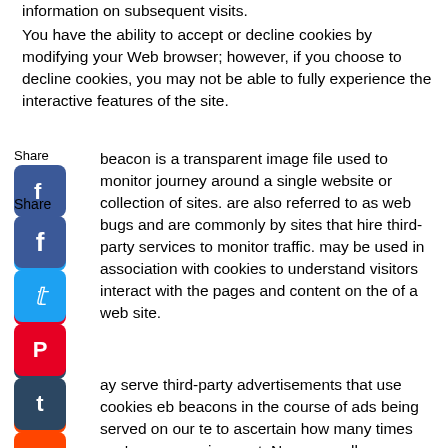information on subsequent visits.
You have the ability to accept or decline cookies by modifying your Web browser; however, if you choose to decline cookies, you may not be able to fully experience the interactive features of the site.
beacon is a transparent image file used to monitor journey around a single website or collection of sites. are also referred to as web bugs and are commonly by sites that hire third-party services to monitor traffic. may be used in association with cookies to understand visitors interact with the pages and content on the of a web site.
ay serve third-party advertisements that use cookies eb beacons in the course of ads being served on our te to ascertain how many times you've seen an isement. No personally identifiable information you gives is provided to them for cookie or web beacon use, so they cannot personally identify you with that information on our web site.
Some third-party advertisements may be provided by Google, which uses cookies to serve ads on this site. Google uses the DART cookie, which enables it to serve ads